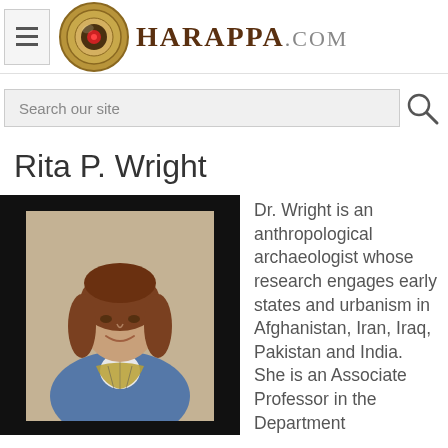HARAPPA.COM
Search our site
Rita P. Wright
[Figure (photo): Photo of Rita P. Wright, a woman with shoulder-length brown hair, wearing a denim jacket and striped scarf, smiling, seated against a light background]
Dr. Wright is an anthropological archaeologist whose research engages early states and urbanism in Afghanistan, Iran, Iraq, Pakistan and India. She is an Associate Professor in the Department